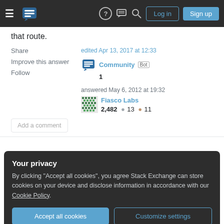[Figure (screenshot): Stack Exchange navigation bar with hamburger menu, logo, help, chat, search icons, Log in and Sign up buttons]
that route.
Share
Improve this answer
Follow
edited Apr 13, 2017 at 12:33
Community Bot
1
answered May 6, 2012 at 19:32
Fiasco Labs
2,482 ● 13 ● 11
Add a comment
Your privacy
By clicking "Accept all cookies", you agree Stack Exchange can store cookies on your device and disclose information in accordance with our Cookie Policy.
Accept all cookies
Customize settings
Whils it means I have an extra account to manage